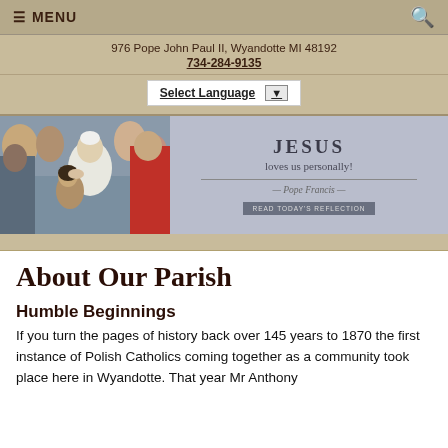≡ MENU   🔍
976 Pope John Paul II, Wyandotte MI 48192
734-284-9135
Select Language ▼
[Figure (photo): Hero banner with photo of Pope Francis blessing a child on the left, and a gray panel on the right with the quote 'JESUS loves us personally! — Pope Francis' and a 'READ TODAY'S REFLECTION' button.]
About Our Parish
Humble Beginnings
If you turn the pages of history back over 145 years to 1870 the first instance of Polish Catholics coming together as a community took place here in Wyandotte.  That year Mr Anthony